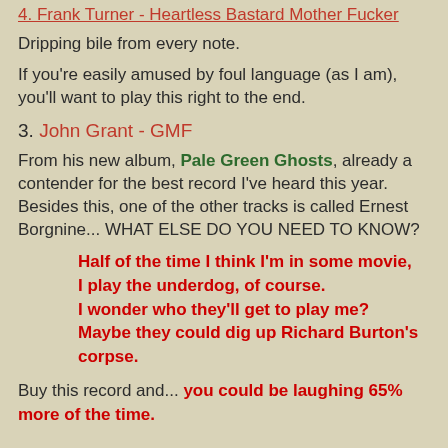4. Frank Turner - Heartless Bastard Mother Fucker
Dripping bile from every note.
If you're easily amused by foul language (as I am), you'll want to play this right to the end.
3. John Grant - GMF
From his new album, Pale Green Ghosts, already a contender for the best record I've heard this year. Besides this, one of the other tracks is called Ernest Borgnine... WHAT ELSE DO YOU NEED TO KNOW?
Half of the time I think I'm in some movie,
I play the underdog, of course.
I wonder who they'll get to play me?
Maybe they could dig up Richard Burton's corpse.
Buy this record and... you could be laughing 65% more of the time.